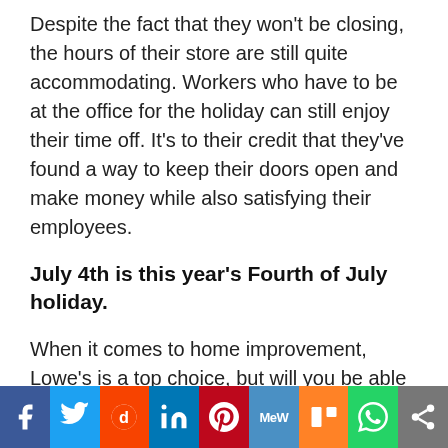Despite the fact that they won't be closing, the hours of their store are still quite accommodating. Workers who have to be at the office for the holiday can still enjoy their time off. It's to their credit that they've found a way to keep their doors open and make money while also satisfying their employees.
July 4th is this year's Fourth of July holiday.
When it comes to home improvement, Lowe's is a top choice, but will you be able to shop for deals on the Fourth of July (7/4/2021) at Lowe's?
[Figure (other): Social media sharing bar with icons for Facebook, Twitter, Reddit, LinkedIn, Pinterest, MeWe, Mix, WhatsApp, and a share button]